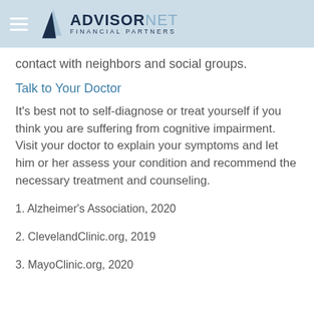ADVISORNET FINANCIAL PARTNERS
contact with neighbors and social groups.
Talk to Your Doctor
It’s best not to self-diagnose or treat yourself if you think you are suffering from cognitive impairment. Visit your doctor to explain your symptoms and let him or her assess your condition and recommend the necessary treatment and counseling.
1. Alzheimer’s Association, 2020
2. ClevelandClinic.org, 2019
3. MayoClinic.org, 2020